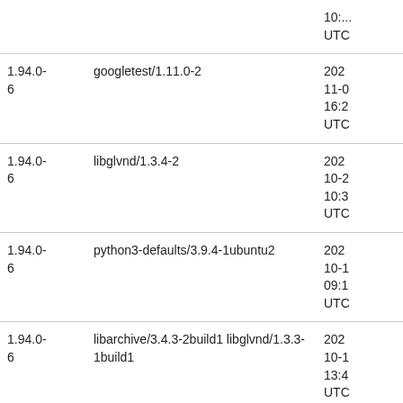|  |  | 10:...
UTC |
| 1.94.0-
6 | googletest/1.11.0-2 | 202
11-0
16:2
UTC |
| 1.94.0-
6 | libglvnd/1.3.4-2 | 202
10-2
10:3
UTC |
| 1.94.0-
6 | python3-defaults/3.9.4-1ubuntu2 | 202
10-1
09:1
UTC |
| 1.94.0-
6 | libarchive/3.4.3-2build1 libglvnd/1.3.3-1build1 | 202
10-1
13:4
UTC |